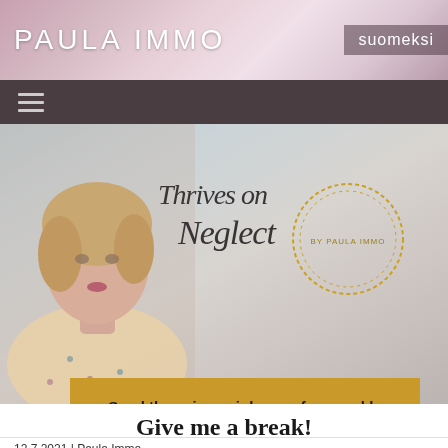PAULA IMMO    suomeksi
[Figure (screenshot): Navigation bar with hamburger menu icon on dark brown/purple background]
[Figure (photo): Hero image showing a blonde woman looking up, with 'Thrives on Neglect by Paula Immo' script text overlaid and a gold circular logo. Gold CTA box reads: Send these in my inbox as free weekly emails to inspire my own journey every Sunday]
Give me a break!
12.7.2021 | Paula Immo